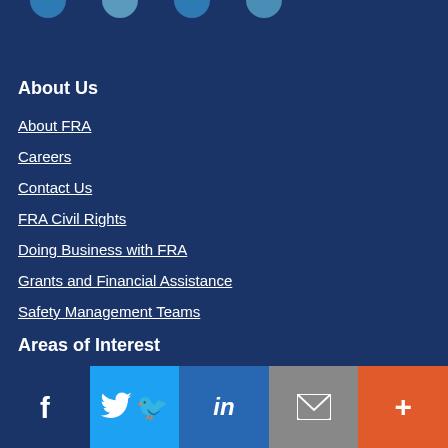[Figure (other): Top decorative circles/social icons partially visible at top of page]
About Us
About FRA
Careers
Contact Us
FRA Civil Rights
Doing Business with FRA
Grants and Financial Assistance
Safety Management Teams
Areas of Interest
Social media sharing bar: Facebook, Twitter, LinkedIn, Email, More